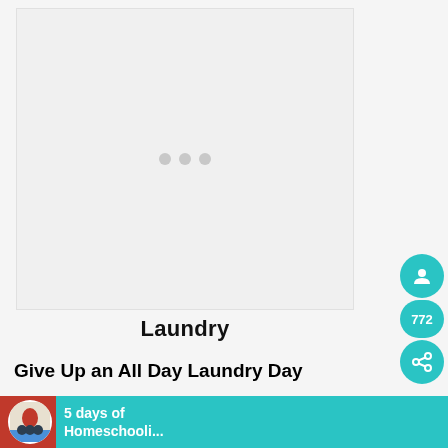[Figure (other): Large light gray placeholder image area with three small gray dots centered, representing a loading or blank embedded content area]
Laundry
Give Up an All Day Laundry Day
Even when I took off a whole day to
[Figure (other): Social sharing widget with teal circular buttons and share count showing 772]
[Figure (other): Notification bar with homeschooling blog icon and text '5 days of Homeschooli...']